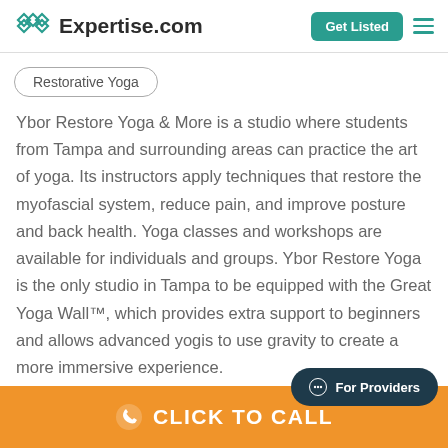Expertise.com | Get Listed
Restorative Yoga
Ybor Restore Yoga & More is a studio where students from Tampa and surrounding areas can practice the art of yoga. Its instructors apply techniques that restore the myofascial system, reduce pain, and improve posture and back health. Yoga classes and workshops are available for individuals and groups. Ybor Restore Yoga is the only studio in Tampa to be equipped with the Great Yoga Wall™, which provides extra support to beginners and allows advanced yogis to use gravity to create a more immersive experience.
For Providers
CLICK TO CALL